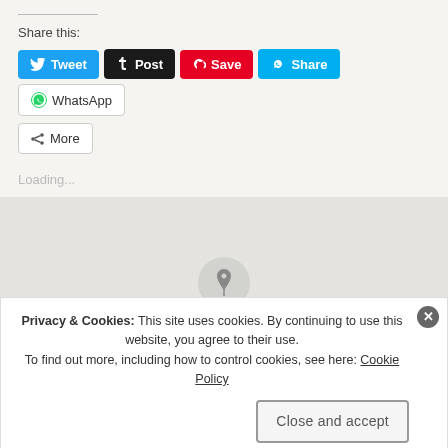Share this:
[Figure (screenshot): Social share buttons: Tweet (Twitter/blue), Post (Tumblr/black), Save (Pinterest/red), Share (Skype/light blue), WhatsApp (white/outline), More (white/outline with share icon)]
Loading...
[Figure (screenshot): Cookie consent banner with close X button, text about Privacy & Cookies policy, Cookie Policy link, and Close and accept button]
Privacy & Cookies: This site uses cookies. By continuing to use this website, you agree to their use. To find out more, including how to control cookies, see here: Cookie Policy
Close and accept